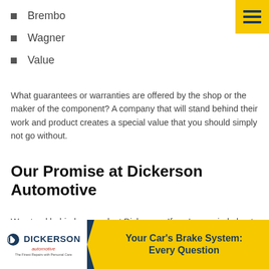Brembo
Wagner
Value
What guarantees or warranties are offered by the shop or the maker of the component? A company that will stand behind their work and product creates a special value that you should simply not go without.
Our Promise at Dickerson Automotive
We stand behind our work at Dickerson. If you’re worried about your brakes for any reason, don’t put it off.
[Figure (logo): Dickerson Automotive logo and banner: dark blue background with white logo box on left and yellow arrow shape on right reading 'Your Car’s Brake System: Every Question']